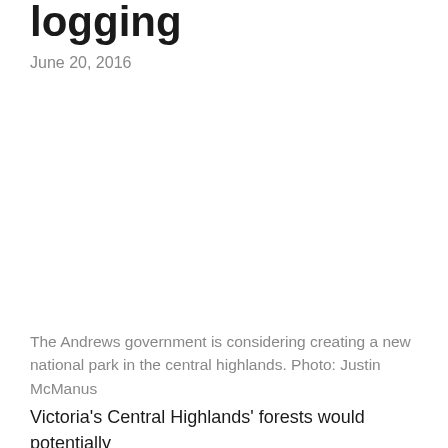logging
June 20, 2016
The Andrews government is considering creating a new national park in the central highlands. Photo: Justin McManus
Victoria's Central Highlands' forests would potentially